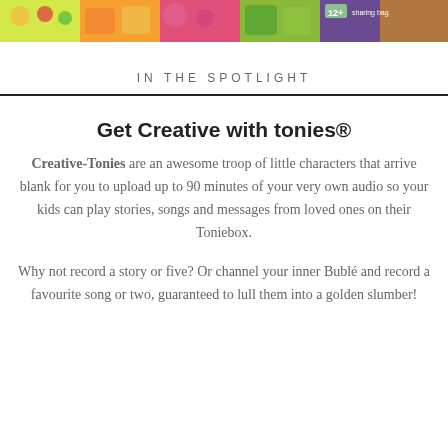[Figure (photo): Colorful product packaging strip showing various children's snack and candy products including fruit characters, chocolates, and sharing bags with bright colors]
IN THE SPOTLIGHT
Get Creative with tonies®
Creative-Tonies are an awesome troop of little characters that arrive blank for you to upload up to 90 minutes of your very own audio so your kids can play stories, songs and messages from loved ones on their Toniebox.
Why not record a story or five? Or channel your inner Bublé and record a favourite song or two, guaranteed to lull them into a golden slumber!